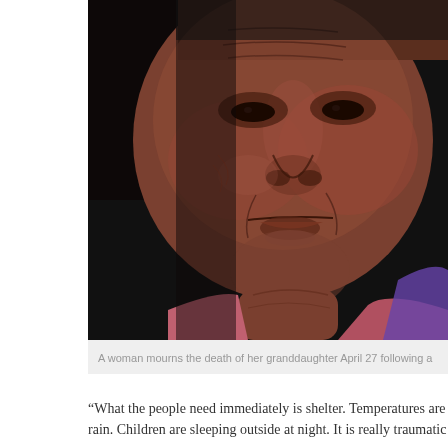[Figure (photo): Close-up portrait of an elderly woman with deeply wrinkled skin, mourning the death of her granddaughter. She appears to be wearing a pink/red garment and a purple or dark clothing item. The background is very dark.]
A woman mourns the death of her granddaughter April 27 following a...
“What the people need immediately is shelter. Temperatures are... rain. Children are sleeping outside at night. It is really traumatic...
Immediate shelter as well as water and sanitation were among th... Internationalis said.
Santosh Kumar Magar, 29, said he was attending the ordination... remote part of eastern Nepal, when the earthquake hit.